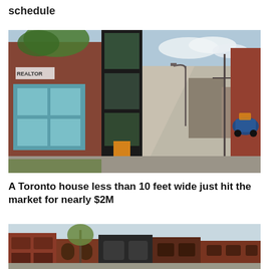schedule
[Figure (photo): Street view of a very narrow modern house with black metal cladding and large glass windows, sandwiched between traditional brick buildings in Toronto, with a laneway stretching behind it and a graffiti mural on a wall to the right.]
A Toronto house less than 10 feet wide just hit the market for nearly $2M
[Figure (photo): Row of older brick buildings along a street, partially cropped, showing storefronts with arched windows and a tree in front.]